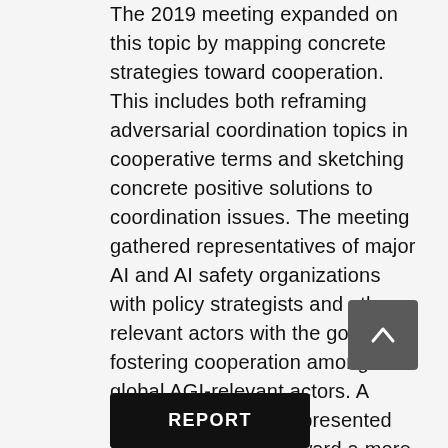The 2019 meeting expanded on this topic by mapping concrete strategies toward cooperation. This includes both reframing adversarial coordination topics in cooperative terms and sketching concrete positive solutions to coordination issues. The meeting gathered representatives of major AI and AI safety organizations with policy strategists and other relevant actors with the goal of fostering cooperation amongst global AGI-relevant actors. A group of participants presented their recent efforts toward a more cooperative AI landscape, followed by discussion in small groups. While discussions followed the Chatham House Rule, a high-level summary of the sessions is available in the report. We welcome questions, comments, and feedback.